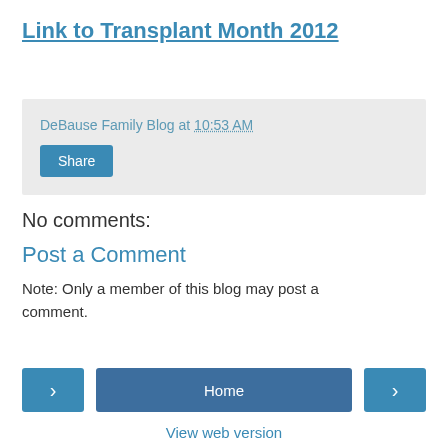Link to Transplant Month 2012
DeBause Family Blog at 10:53 AM
No comments:
Post a Comment
Note: Only a member of this blog may post a comment.
Home | View web version